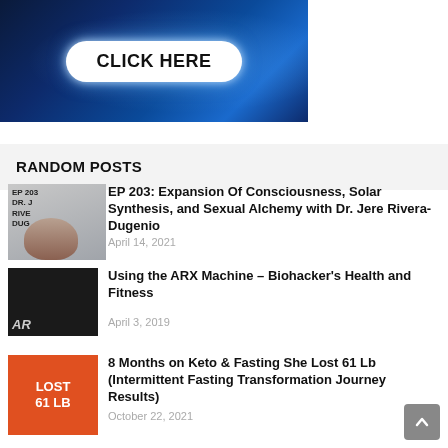[Figure (illustration): Dark blue tech-themed banner with a CLICK HERE button in white pill/rounded rectangle shape]
RANDOM POSTS
[Figure (photo): Thumbnail of a person's face with text EP 203, DR., RIVE, DUG overlaid]
EP 203: Expansion Of Consciousness, Solar Synthesis, and Sexual Alchemy with Dr. Jere Rivera-Dugenio
April 14, 2021
[Figure (photo): Thumbnail of a person in gym with AR logo]
Using the ARX Machine – Biohacker's Health and Fitness
April 3, 2019
[Figure (photo): Thumbnail with orange background showing LOST 61 LB text]
8 Months on Keto & Fasting She Lost 61 Lb (Intermittent Fasting Transformation Journey Results)
October 22, 2021